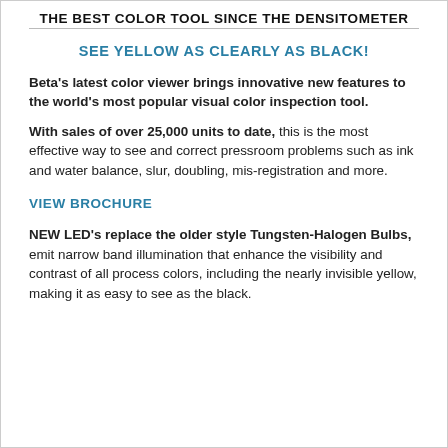THE BEST COLOR TOOL SINCE THE DENSITOMETER
SEE YELLOW AS CLEARLY AS BLACK!
Beta's latest color viewer brings innovative new features to the world's most popular visual color inspection tool.
With sales of over 25,000 units to date, this is the most effective way to see and correct pressroom problems such as ink and water balance, slur, doubling, mis-registration and more.
VIEW BROCHURE
NEW LED's replace the older style Tungsten-Halogen Bulbs, emit narrow band illumination that enhance the visibility and contrast of all process colors, including the nearly invisible yellow, making it as easy to see as the black.